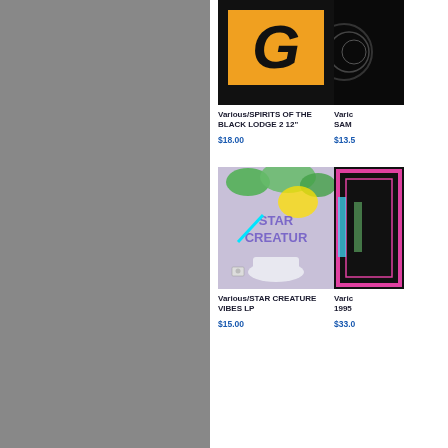[Figure (screenshot): Product listing grid showing music records/albums. Left side is grey background, right side is white content panel with two columns of products. Top row: left product shows black album cover with orange G logo (Various/SPIRITS OF THE BLACK LODGE 2 12" $18.00), right product partially visible with dark cover. Bottom row: left product shows Star Creature Vibes LP colorful psychedelic cover ($15.00), right product partially visible with colorful cover ($33.00 truncated).]